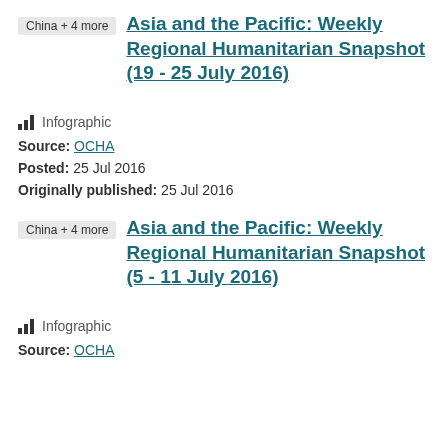Asia and the Pacific: Weekly Regional Humanitarian Snapshot (19 - 25 July 2016)
Infographic
Source: OCHA
Posted: 25 Jul 2016
Originally published: 25 Jul 2016
Asia and the Pacific: Weekly Regional Humanitarian Snapshot (5 - 11 July 2016)
Infographic
Source: OCHA